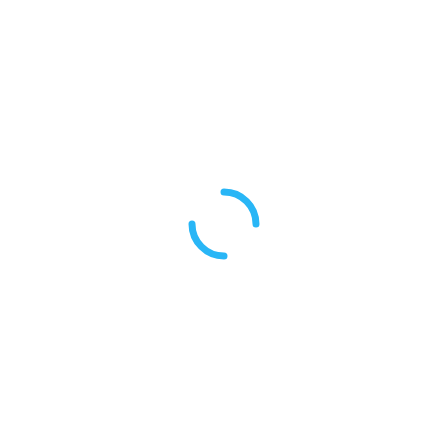[Figure (other): A loading spinner icon made of two curved arc segments in blue (#1da1f2 / dodger blue), forming a partial circle. The top-right arc and bottom-left arc together suggest a spinning loading indicator on a white background.]